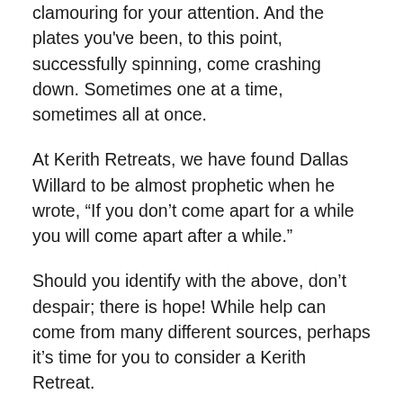clamouring for your attention. And the plates you've been, to this point, successfully spinning, come crashing down. Sometimes one at a time, sometimes all at once.
At Kerith Retreats, we have found Dallas Willard to be almost prophetic when he wrote, “If you don’t come apart for a while you will come apart after a while.”
Should you identify with the above, don’t despair; there is hope! While help can come from many different sources, perhaps it’s time for you to consider a Kerith Retreat.
What does a Kerith Retreat actually look like? It’s a seven-day retreat in a quiet,